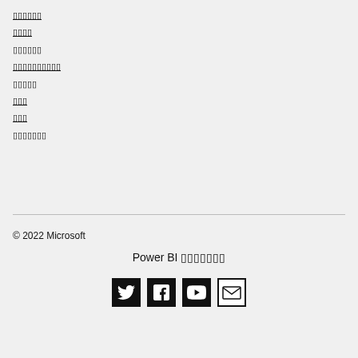▯▯▯▯▯▯
▯▯▯▯
▯▯▯▯▯▯
▯▯▯▯▯▯▯▯▯▯
▯▯▯▯▯
▯▯▯
▯▯▯
▯▯▯▯▯▯▯
© 2022 Microsoft
Power BI ▯▯▯▯▯▯▯
[Figure (other): Social media icons: Twitter, Facebook, YouTube, Email]